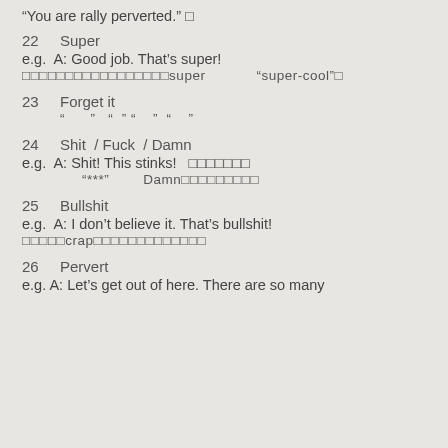“You are rally perverted.”□
22    Super
e.g.  A: Good job. That’s super!
□□□□□□□□□□□□□□□□□super   “super-cool”□
23    Forget it
「□」   「□」「□」   「□」
24    Shit / Fuck / Damn
e.g.  A: Shit! This stinks!  □□□□□□□
“***”   Damn□□□□□□□□□
25    Bullshit
e.g.  A: I don’t believe it. That’s bullshit!
□□□□□crap□□□□□□□□□□□□□
26    Pervert
e.g.  A: Let’s get out of here. There are so many